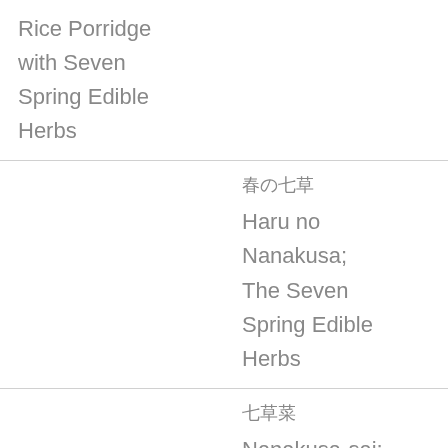Rice Porridge with Seven Spring Edible Herbs
春の七草 Haru no Nanakusa; The Seven Spring Edible Herbs
七草菜 Nanakusa-sai; The Seven Spring Edible Herbs